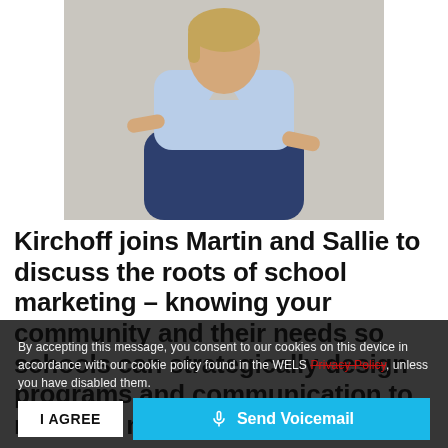[Figure (photo): A woman with blonde hair wearing a light blue striped shirt and dark jeans, seated on a wooden chair against a grey background.]
Kirchoff joins Martin and Sallie to discuss the roots of school marketing – knowing your community and their needs so schools can strategically design programs and communication to meet the needs.
By accepting this message, you consent to our cookies on this device in accordance with our cookie policy found in the WELS Privacy Policy, unless you have disabled them.
Dana's website
School mark...